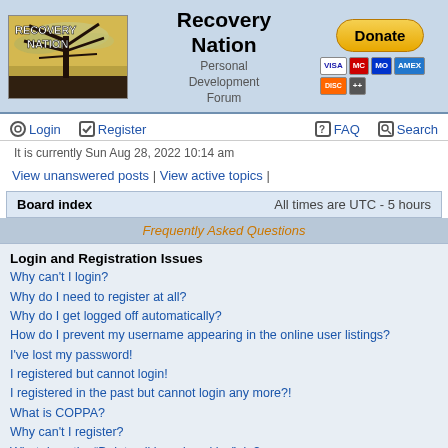[Figure (logo): Recovery Nation logo with tree silhouette against sky]
Recovery Nation Personal Development Forum
[Figure (other): Donate button with PayPal and payment card icons]
Login | Register | FAQ | Search
It is currently Sun Aug 28, 2022 10:14 am
View unanswered posts | View active topics |
| Board index | All times are UTC - 5 hours |
| --- | --- |
Frequently Asked Questions
Login and Registration Issues
Why can't I login?
Why do I need to register at all?
Why do I get logged off automatically?
How do I prevent my username appearing in the online user listings?
I've lost my password!
I registered but cannot login!
I registered in the past but cannot login any more?!
What is COPPA?
Why can't I register?
What does the "Delete all board cookies" do?
User Preferences and settings